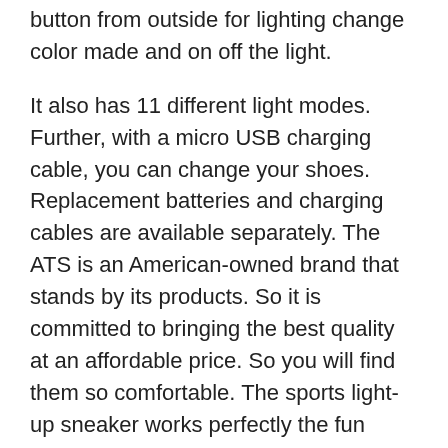button from outside for lighting change color made and on off the light.
It also has 11 different light modes. Further, with a micro USB charging cable, you can change your shoes. Replacement batteries and charging cables are available separately. The ATS is an American-owned brand that stands by its products. So it is committed to bringing the best quality at an affordable price. So you will find them so comfortable. The sports light-up sneaker works perfectly the fun shoes that glow up got a lot of attention the best gift for nightclubs, Halloween, birthdays, and many other festivals and celebrations.